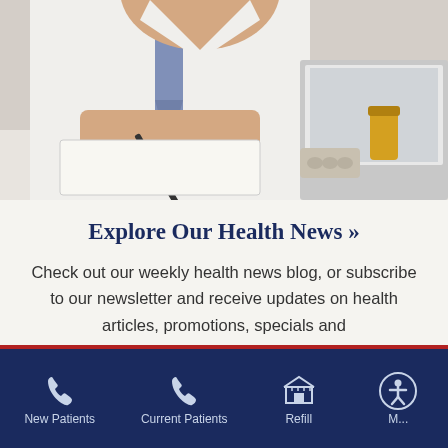[Figure (photo): Doctor or pharmacist in white coat writing on clipboard at desk with laptop and medication bottles]
Explore Our Health News »
Check out our weekly health news blog, or subscribe to our newsletter and receive updates on health articles, promotions, specials and
[Figure (infographic): Dark blue footer navigation bar with icons and labels: New Patients (phone icon), Current Patients (phone icon), Refill (store icon), accessibility icon]